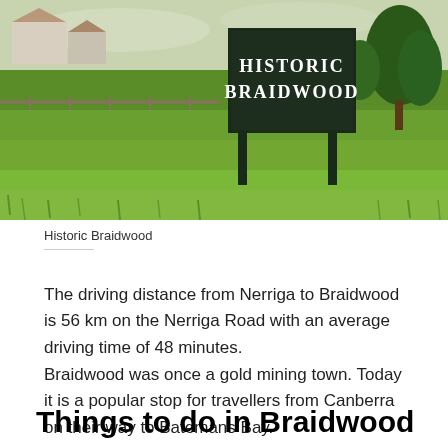[Figure (photo): Photograph of the 'Historic Braidwood' town entrance sign — a large dark green/black sign with white serif lettering reading 'HISTORIC BRAIDWOOD', mounted on two posts. Background shows green grassy fields, trees, and some buildings under an overcast sky.]
Historic Braidwood
The driving distance from Nerriga to Braidwood is 56 km on the Nerriga Road with an average driving time of 48 minutes.
Braidwood was once a gold mining town. Today it is a popular stop for travellers from Canberra on their way to Batemans Bay.
Things to do in Braidwood